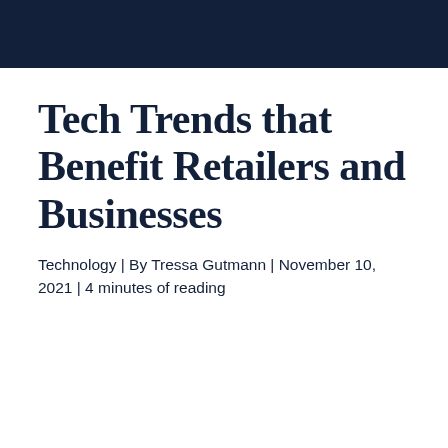Tech Trends that Benefit Retailers and Businesses
Technology | By Tressa Gutmann | November 10, 2021 | 4 minutes of reading